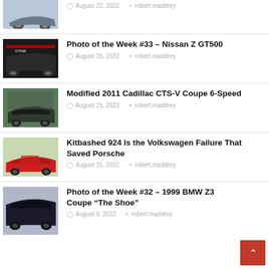[Figure (photo): Car thumbnail - partial view at top]
August 22, 2022  robert.maddrey
[Figure (photo): Black racing car - Nissan Z GT500]
Photo of the Week #33 – Nissan Z GT500
August 15, 2022  robert.maddrey
[Figure (photo): Dark grey Cadillac CTS-V Coupe]
Modified 2011 Cadillac CTS-V Coupe 6-Speed
August 15, 2022  robert.maddrey
[Figure (photo): Red Porsche 924]
Kitbashed 924 Is the Volkswagen Failure That Saved Porsche
August 15, 2022  robert.maddrey
[Figure (photo): Black BMW Z3 Coupe - partial view at bottom]
Photo of the Week #32 – 1999 BMW Z3 Coupe "The Shoe"
August 8, 2022  robert.maddrey